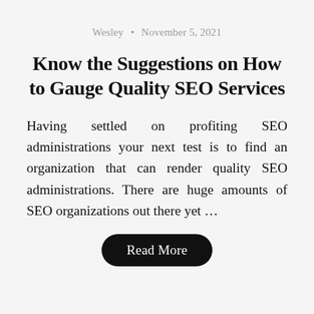Wesley · November 5, 2021
Know the Suggestions on How to Gauge Quality SEO Services
Having settled on profiting SEO administrations your next test is to find an organization that can render quality SEO administrations. There are huge amounts of SEO organizations out there yet …
Read More